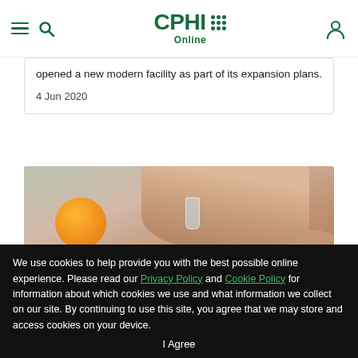CPHI Online — navigation bar with hamburger menu, search icon, logo, and user icon
opened a new modern facility as part of its expansion plans.
4 Jun 2020
[Figure (photo): Hands dispensing pills/liquid from a small glass bottle into an open palm, with an orange, lemon half, and pills/tablets in the blurred background]
We use cookies to help provide you with the best possible online experience. Please read our Privacy Policy and Cookie Policy for information about which cookies we use and what information we collect on our site. By continuing to use this site, you agree that we may store and access cookies on your device.
I Agree